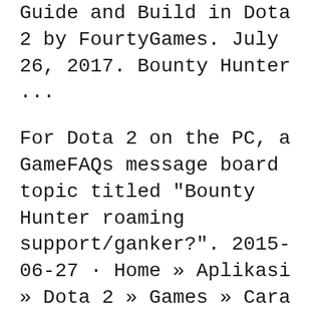Guide and Build in Dota 2 by FourtyGames. July 26, 2017. Bounty Hunter ...
For Dota 2 on the PC, a GameFAQs message board topic titled "Bounty Hunter roaming support/ganker?". 2015-06-27 · Home » Aplikasi » Dota 2 » Games » Cara mudah menggunakan hero Bounty Hunter di dota 2. untuk build c arry. 1. Shuriken Toss. Bounty Hunter
2015-06-27 · Home » Aplikasi » Dota 2 » Games » Cara mudah menggunakan hero Bounty Hunter di dota 2. untuk build c arry. 1. Shuriken Toss. Bounty Hunter...